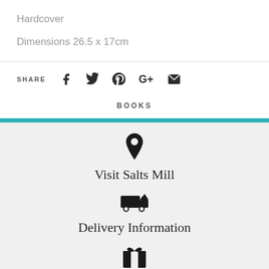Hardcover
Dimensions 26.5 x 17cm
SHARE
[Figure (infographic): Social share icons: Facebook, Twitter, Pinterest, Google+, Email]
BOOKS
[Figure (infographic): Location pin icon above 'Visit Salts Mill' text]
Visit Salts Mill
[Figure (infographic): Delivery truck icon above 'Delivery Information' text]
Delivery Information
[Figure (infographic): Gift box icon]